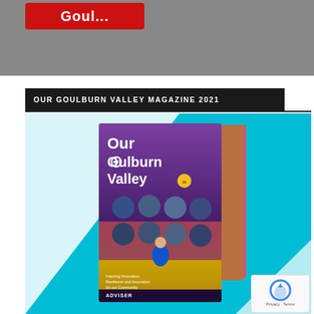[Figure (other): Top banner with red button showing partial text (Goul...) on gray background]
OUR GOULBURN VALLEY MAGAZINE 2021
[Figure (photo): Our Goulburn Valley Magazine 2021 cover displayed as a stack of magazines on a bright blue background with white triangle design. Magazine cover shows 'Our Goulburn Valley' title in white text on purple/violet background with circular photo collages and a person in a yellow canola field. Bottom text reads: Inspiring Innovation, Resilience and Innovation for our Community. Adviser branding visible. reCAPTCHA badge visible in bottom-right corner.]